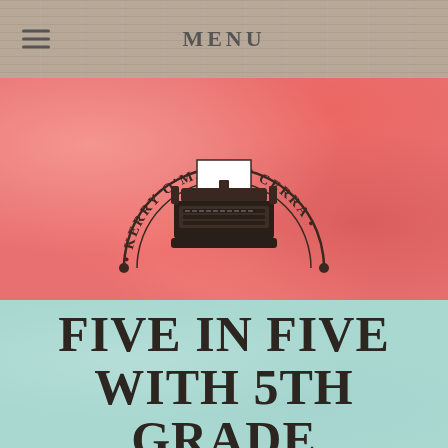Menu
[Figure (logo): Kerry O'Malley Cerra logo with typewriter illustration in a semicircle arc design on pink textured background]
FIVE IN FIVE WITH 5TH GRADE TEACHER, MARY LEE HAHN